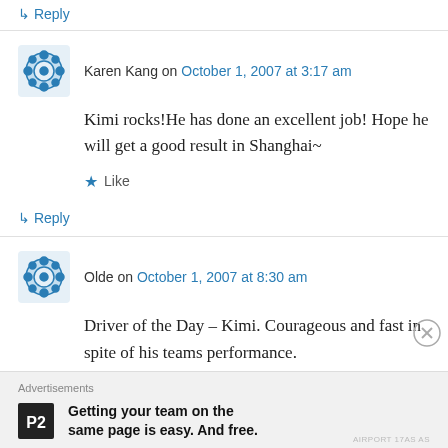↳ Reply
Karen Kang on October 1, 2007 at 3:17 am
Kimi rocks!He has done an excellent job! Hope he will get a good result in Shanghai~
★ Like
↳ Reply
Olde on October 1, 2007 at 8:30 am
Driver of the Day – Kimi. Courageous and fast in spite of his teams performance.
Advertisements
Getting your team on the same page is easy. And free.